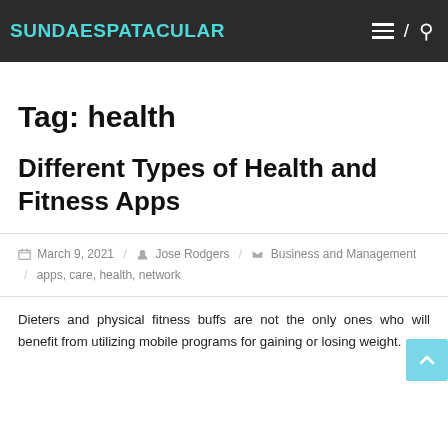SUNDAESPATACULAR
Tag: health
Different Types of Health and Fitness Apps
March 9, 2021 / Jose Rodgers / Business and Management / apps, care, health, network
Dieters and physical fitness buffs are not the only ones who will benefit from utilizing mobile programs for gaining or losing weight.